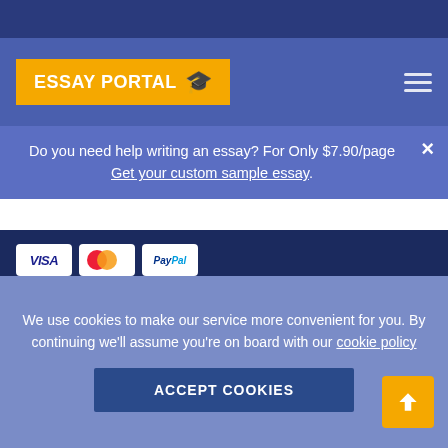[Figure (logo): Essay Portal logo with graduation cap on yellow/orange background]
Do you need help writing an essay? For Only $7.90/page Get your custom sample essay
[Figure (other): Payment method logos: Visa, Mastercard, PayPal, American Express, Maestro, Discover]
[Figure (other): DMCA Protected badge]
We use cookies to make our service more convenient for you. By continuing we'll assume you're on board with our cookie policy
Accept Cookies